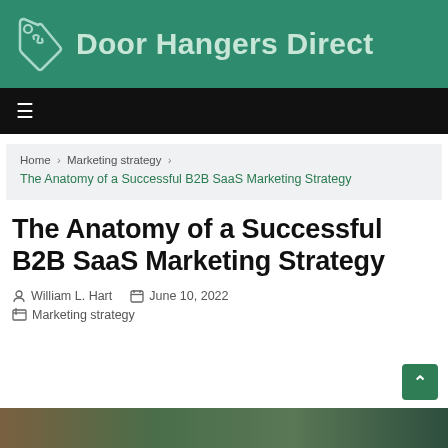Door Hangers Direct
Home › Marketing strategy › The Anatomy of a Successful B2B SaaS Marketing Strategy
The Anatomy of a Successful B2B SaaS Marketing Strategy
William L. Hart   June 10, 2022
Marketing strategy
[Figure (photo): Bottom image strip / article featured image partially visible]